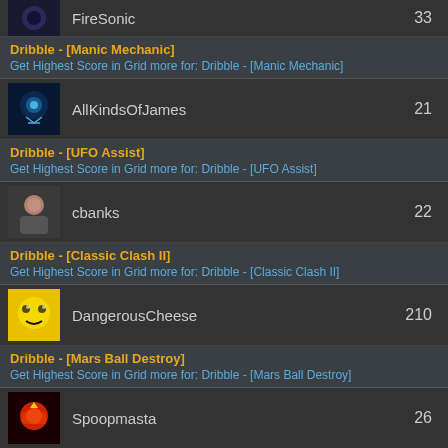FireSonic | 33
Dribble - [Manic Mechanic]
Get Highest Score in Grid more for: Dribble - [Manic Mechanic]
AllKindsOfJames | 21
Dribble - [UFO Assist]
Get Highest Score in Grid more for: Dribble - [UFO Assist]
cbanks | 22
Dribble - [Classic Clash II]
Get Highest Score in Grid more for: Dribble - [Classic Clash II]
DangerousCheese | 210
Dribble - [Mars Ball Destroy]
Get Highest Score in Grid more for: Dribble - [Mars Ball Destroy]
Spoopmasta | 26
Dribble - [Hover for Cover]
Get Highest Score in Grid more for: Dribble - [Hover for Cover]
JigokuNoBanken | 47
Dribble - [Scoot or Die]
Get Highest Score in Grid more for: Dribble - [Scoot or Die]